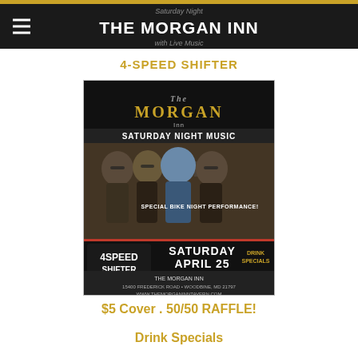THE MORGAN INN with Live Music
4-SPEED SHIFTER
[Figure (photo): Promotional flyer for 4 Speed Shifter band performing at The Morgan Inn. Shows four band members posing outdoors. Text reads: The Morgan Inn, Saturday Night Music, Special Bike Night Performance!, Saturday April 25, 6-10 PM, 4 Speed Shifter Classic Rock, Drink Specials, The Morgan Inn, 15400 Frederick Road, Woodbine, MD 21797, www.TheMorganInnTavern.com]
$5 Cover . 50/50 RAFFLE!
Drink Specials